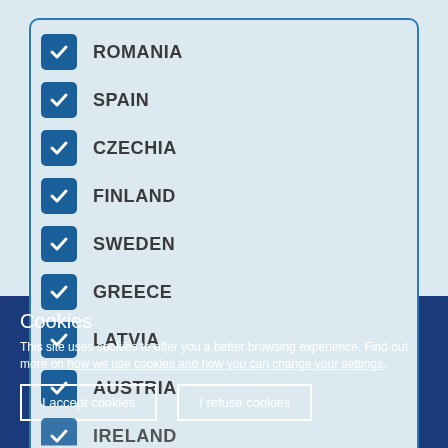ROMANIA (checked)
SPAIN (checked)
CZECHIA (checked)
FINLAND (checked)
SWEDEN (checked)
GREECE (checked)
LATVIA (checked)
AUSTRIA (checked)
IRELAND (checked, partially visible)
Cookies
This site uses cookies to offer you a better browsing experience. Find out more on how we use cookies and how you can change your settings.
I accept cookies
I refuse cookies